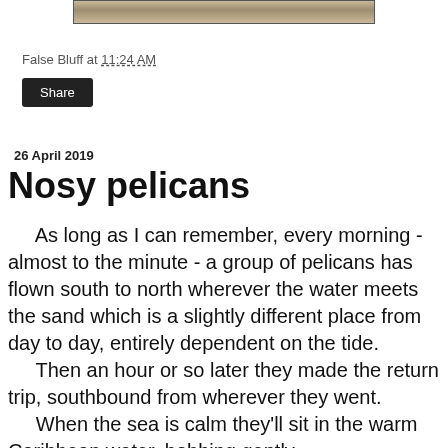[Figure (photo): Partial view of a photograph showing a beach/shoreline scene, cropped at the top of the page]
False Bluff at 11:24 AM
Share
26 April 2019
Nosy pelicans
As long as I can remember, every morning - almost to the minute - a group of pelicans has flown south to north wherever the water meets the sand which is a slightly different place from day to day, entirely dependent on the tide.
      Then an hour or so later they made the return trip, southbound from wherever they went.
      When the sea is calm they'll sit in the warm Caribbean water, bobbing gently.
      This has been their habit for...